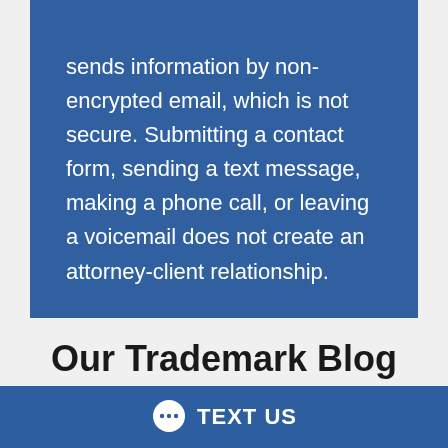sends information by non-encrypted email, which is not secure. Submitting a contact form, sending a text message, making a phone call, or leaving a voicemail does not create an attorney-client relationship.
Our Trademark Blog
[Figure (photo): Dark gradient bar, likely a blog post thumbnail header image]
TEXT US